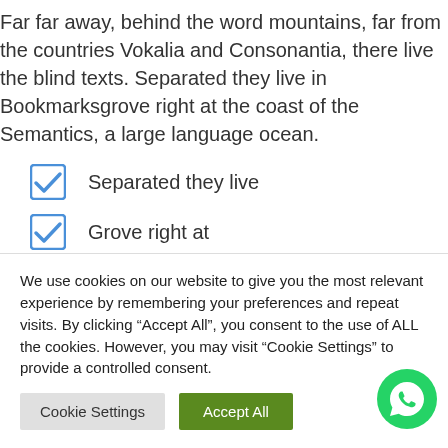Far far away, behind the word mountains, far from the countries Vokalia and Consonantia, there live the blind texts. Separated they live in Bookmarksgrove right at the coast of the Semantics, a large language ocean.
Separated they live
Grove right at
The coast of the
Semantics, a large
We use cookies on our website to give you the most relevant experience by remembering your preferences and repeat visits. By clicking “Accept All”, you consent to the use of ALL the cookies. However, you may visit “Cookie Settings” to provide a controlled consent.